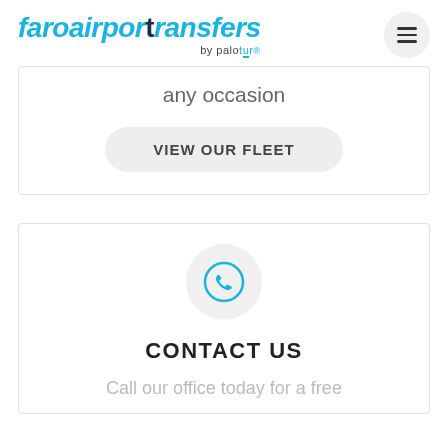faroairportransfers by palotur
any occasion
VIEW OUR FLEET
[Figure (illustration): Blue phone/call icon inside a light gray circle]
CONTACT US
Call our office today for a free